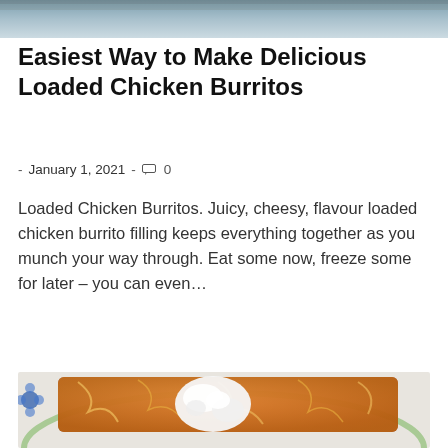[Figure (photo): Top portion of a food photo, cropped at the top of the page — appears to be a baked dish with sauce and cheese.]
Easiest Way to Make Delicious Loaded Chicken Burritos
- January 1, 2021 - 0
Loaded Chicken Burritos. Juicy, cheesy, flavour loaded chicken burrito filling keeps everything together as you munch your way through. Eat some now, freeze some for later – you can even…
[Figure (photo): A plate with loaded chicken burritos topped with melted shredded cheese, red tomato sauce, and a dollop of sour cream, served on a decorative plate with blue flower and green circle pattern.]